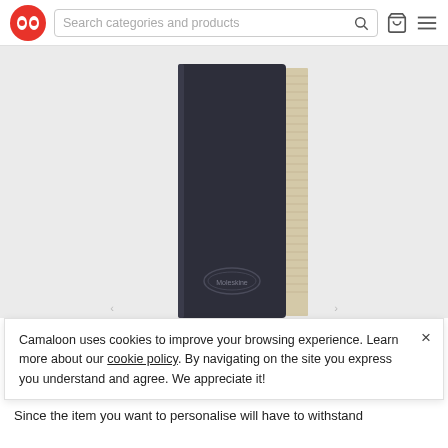Search categories and products
[Figure (photo): A dark navy/black Moleskine-style hardcover notebook standing upright, showing the spine with cream-colored pages visible on the right edge, on a light grey background.]
Camaloon uses cookies to improve your browsing experience. Learn more about our cookie policy. By navigating on the site you express you understand and agree. We appreciate it!
Since the item you want to personalise will have to withstand